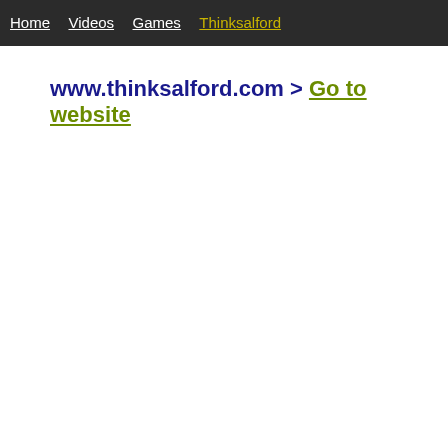Home   Videos   Games   Thinksalford
www.thinksalford.com > Go to website